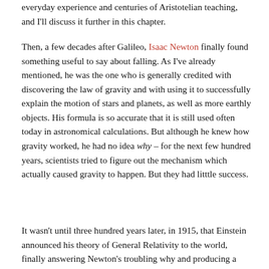everyday experience and centuries of Aristotelian teaching, and I'll discuss it further in this chapter.
Then, a few decades after Galileo, Isaac Newton finally found something useful to say about falling. As I've already mentioned, he was the one who is generally credited with discovering the law of gravity and with using it to successfully explain the motion of stars and planets, as well as more earthly objects. His formula is so accurate that it is still used often today in astronomical calculations. But although he knew how gravity worked, he had no idea why – for the next few hundred years, scientists tried to figure out the mechanism which actually caused gravity to happen. But they had litttle success.
It wasn't until three hundred years later, in 1915, that Einstein announced his theory of General Relativity to the world, finally answering Newton's troubling why and producing a theory with profound and far-reaching implications.